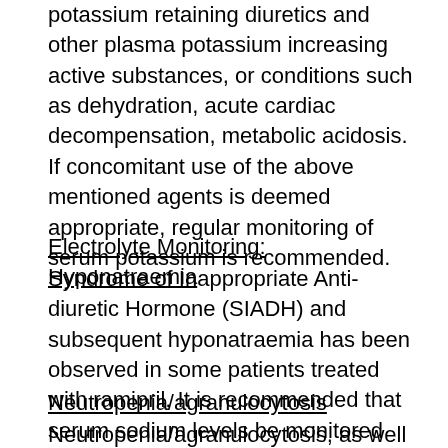potassium retaining diuretics and other plasma potassium increasing active substances, or conditions such as dehydration, acute cardiac decompensation, metabolic acidosis. If concomitant use of the above mentioned agents is deemed appropriate, regular monitoring of serum potassium is recommended.
Electrolyte Monitoring: Hyponatraemia
Syndrome of Inappropriate Anti-diuretic Hormone (SIADH) and subsequent hyponatraemia has been observed in some patients treated with ramipril. It is recommended that serum sodium levels be monitored regularly in the elderly and in other patients at risk of hyponatraemia.
Neutropenia/agranulocytosis
Neutropenia/agranulocytosis, as well as